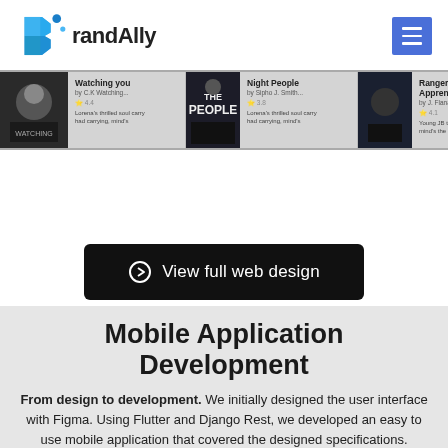[Figure (logo): BrandAlly logo with blue geometric B icon and text 'BrandAlly']
[Figure (screenshot): Carousel strip showing book/media cards: 'Watching you', 'Night People', 'Rangers Apprentice' with thumbnails and descriptions]
[Figure (other): Dark button with circle-arrow icon reading 'View full web design']
Mobile Application Development
From design to development. We initially designed the user interface with Figma. Using Flutter and Django Rest, we developed an easy to use mobile application that covered the designed specifications.